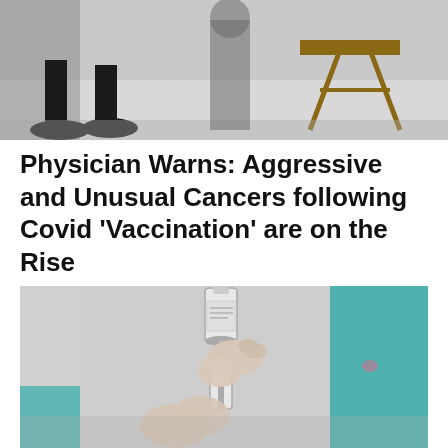[Figure (photo): Top portion of a photo showing people's feet and legs near chairs in what appears to be a waiting or vaccination area]
Physician Warns: Aggressive and Unusual Cancers following Covid 'Vaccination' are on the Rise
WorldNews.com | 2022-09-05
[Figure (photo): Close-up photo of gloved hands drawing a vaccine into a syringe from a vial, with a person in a teal medical gown visible in the background]